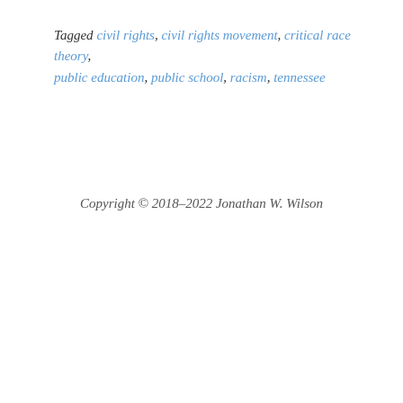Tagged civil rights, civil rights movement, critical race theory, public education, public school, racism, tennessee
Copyright © 2018–2022 Jonathan W. Wilson